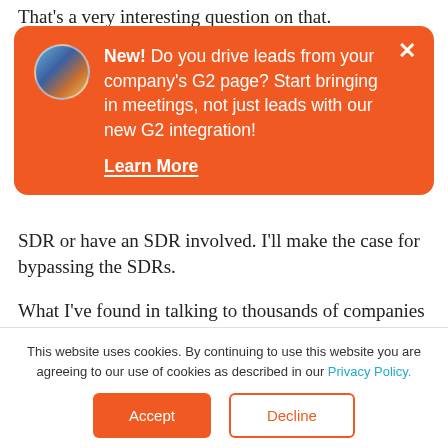That's a very interesting question on that.
[Figure (screenshot): Orange notification popup with avatar photo, bold 'New!' text, message about driving leads from G2 page with G2 integration, and 'Learn More' underlined link, with X close button]
SDR or have an SDR involved. I'll make the case for bypassing the SDRs.
What I've found in talking to thousands of companies that we have as customers is that the qualification process in 99% of the cases is something that can be summarized in two to
This website uses cookies. By continuing to use this website you are agreeing to our use of cookies as described in our Privacy Policy.